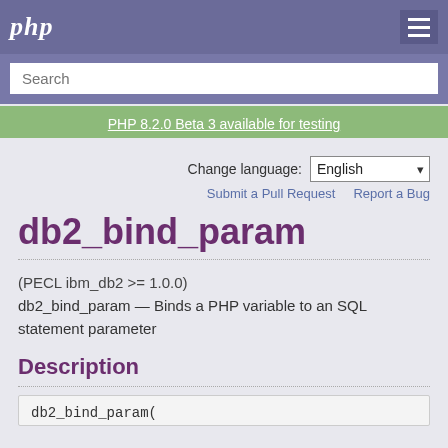php
Search
PHP 8.2.0 Beta 3 available for testing
Change language: English
Submit a Pull Request    Report a Bug
db2_bind_param
(PECL ibm_db2 >= 1.0.0)
db2_bind_param — Binds a PHP variable to an SQL statement parameter
Description
db2_bind_param(